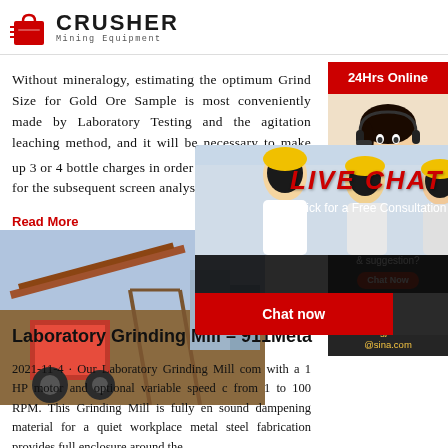CRUSHER Mining Equipment
Without mineralogy, estimating the optimum Grind Size for Gold Ore Sample is most conveniently made by Laboratory Testing and the agitation leaching method, and it will be necessary to make up 3 or 4 bottle charges in order to have enough ore* for the subsequent screen analysis.
Read More
[Figure (photo): Mining equipment in operation - conveyor belts and machinery at a mining site]
[Figure (screenshot): Live chat popup overlay with workers in hard hats. Text: LIVE CHAT - Click for a Free Consultation. Buttons: Chat now, Chat later. Close button (X).]
[Figure (photo): Customer service representative with headset on right sidebar]
24Hrs Online
Need questions & suggestion?
Chat Now
Enquiry
limingjlmofen@sina.com
Laboratory Grinding Mill – 911Meta
2021-11-4 · Our Laboratory Grinding Mill com with a 1 HP motor and optional variable speed c from 1 to 100 RPM. This Grinding Mill is fully en sound dampening material for a quiet workplace metal steel fabrication provides full enclosure around the